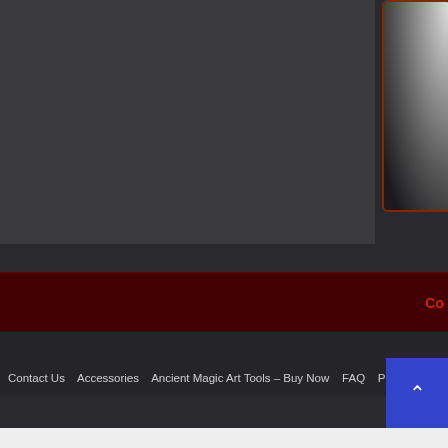[Figure (screenshot): Dark background main content area with large dark image box on the left and a darker right panel with radial gradient (white to dark), bordered with dark red/brown outline]
[Figure (screenshot): Dark red/maroon horizontal bar with partial text 'Co...' in red on the right side]
Contact Us   Accessories   Ancient Magic Art Tools – Buy Now   FAQ   Privacy
[Figure (screenshot): Blue square scroll-to-top button with upward chevron arrow]